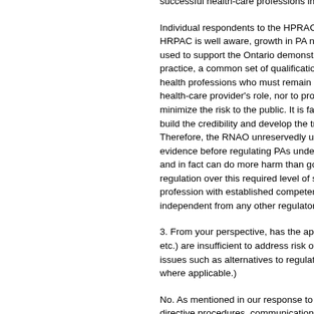successful health-care professions in Ontario.
Individual respondents to the HPRAC survey HRPAC is well aware, growth in PA numbers used to support the Ontario demonstration practice, a common set of qualifications and health professions who must remain mindful health-care provider's role, nor to provide the minimize the risk to the public. It is far better build the credibility and develop the track rec. Therefore, the RNAO unreservedly urges HP evidence before regulating PAs under the RH and in fact can do more harm than good. Phy regulation over this required level of supervis profession with established competencies, kn independent from any other regulatory body
3. From your perspective, has the applicant etc.) are insufficient to address risk of harm a issues such as alternatives to regulation. (Ple where applicable.)
No. As mentioned in our response to questio directive procedures, communication requirem arising from the physician-delegated practic